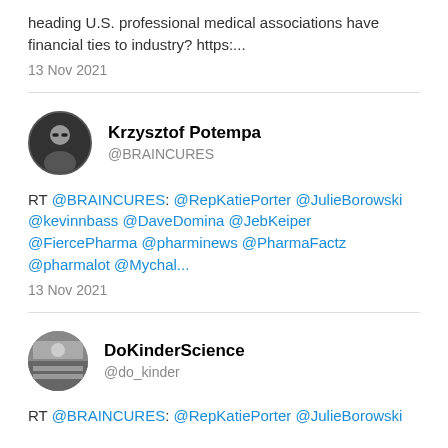heading U.S. professional medical associations have financial ties to industry? https:...
13 Nov 2021
[Figure (photo): Profile photo of Krzysztof Potempa, a person with glasses]
Krzysztof Potempa
@BRAINCURES
RT @BRAINCURES: @RepKatiePorter @JulieBorowski @kevinnbass @DaveDomina @JebKeiper @FiercePharma @pharminews @PharmaFactz @pharmalot @Mychal...
13 Nov 2021
[Figure (photo): Profile photo of DoKinderScience account]
DoKinderScience
@do_kinder
RT @BRAINCURES: @RepKatiePorter @JulieBorowski